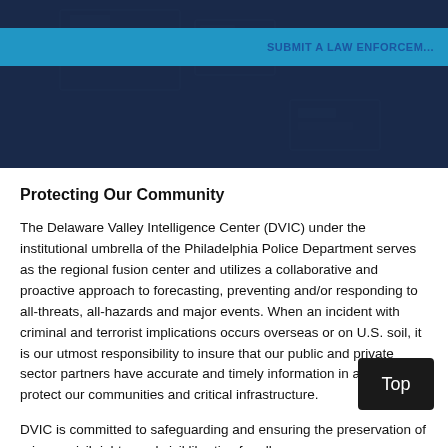[Figure (screenshot): Dark navy website header banner with a cyan/blue navigation bar containing a 'SUBMIT A LAW ENFORCEM...' link in blue text. Background has a pattern suggestive of a city/building grid.]
Protecting Our Community
The Delaware Valley Intelligence Center (DVIC) under the institutional umbrella of the Philadelphia Police Department serves as the regional fusion center and utilizes a collaborative and proactive approach to forecasting, preventing and/or responding to all-threats, all-hazards and major events. When an incident with criminal and terrorist implications occurs overseas or on U.S. soil, it is our utmost responsibility to insure that our public and private sector partners have accurate and timely information in an effort to protect our communities and critical infrastructure.
DVIC is committed to safeguarding and ensuring the preservation of privacy, civil rights, and civil liberties for all.
Privacy Policy